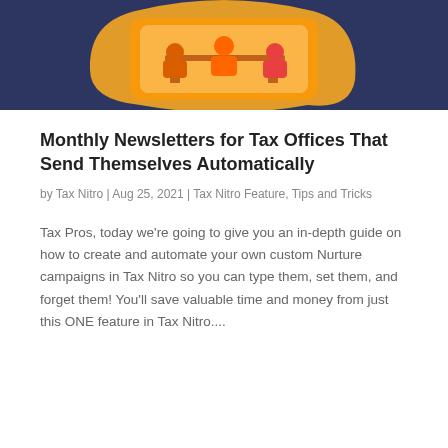[Figure (illustration): Illustration on dark navy background showing people working at a desk with an orange curved phone/device shape framing them]
Monthly Newsletters for Tax Offices That Send Themselves Automatically
by Tax Nitro | Aug 25, 2021 | Tax Nitro Feature, Tips and Tricks
Tax Pros, today we're going to give you an in-depth guide on how to create and automate your own custom Nurture campaigns in Tax Nitro so you can type them, set them, and forget them! You'll save valuable time and money from just this ONE feature in Tax Nitro....